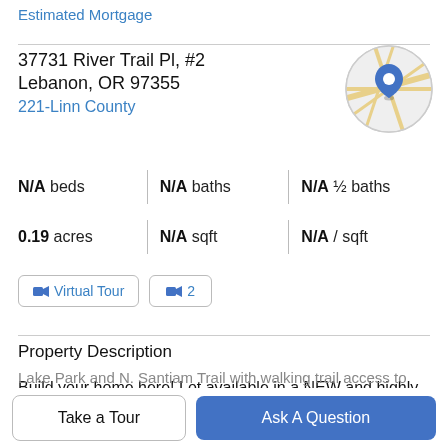Estimated Mortgage
37731 River Trail Pl, #2
Lebanon, OR 97355
221-Linn County
[Figure (map): Circular map thumbnail with a blue location pin marker]
N/A beds | N/A baths | N/A ½ baths | 0.19 acres | N/A sqft | N/A / sqft
Virtual Tour | 2
Property Description
Build your home here! Lot available in a NEW and highly desirable neighborhood! Nestled between the South
Lake Park and N. Santiam Trail with walking trail access to
Take a Tour
Ask A Question